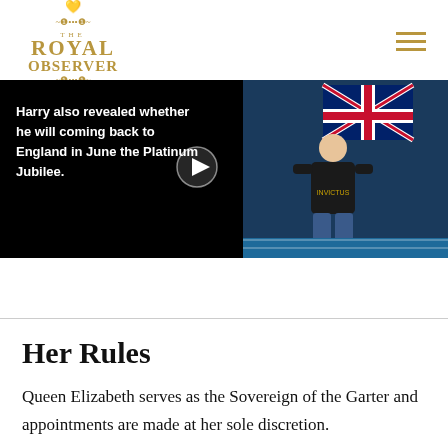THE ROYAL OBSERVER
[Figure (screenshot): Video thumbnail showing Prince Harry standing in front of a Union Jack flag at what appears to be a sporting event. Black background with text overlay reading 'Harry also revealed whether he will coming back to England in June the Platinum Jubilee.' and a play button icon.]
Her Rules
Queen Elizabeth serves as the Sovereign of the Garter and appointments are made at her sole discretion.